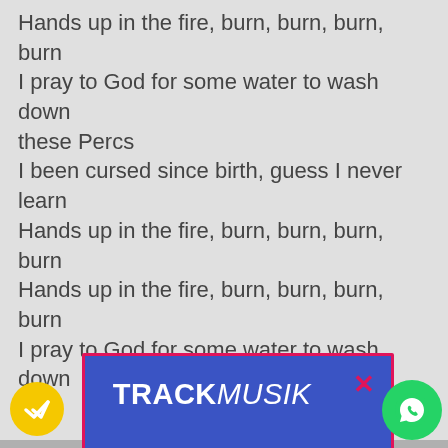Hands up in the fire, burn, burn, burn, burn
I pray to God for some water to wash down these Percs
I been cursed since birth, guess I never learn
Hands up in the fire, burn, burn, burn, burn
Hands up in the fire, burn, burn, burn, burn
I pray to God for some water to wash down
[Figure (screenshot): TRACKmusik modal overlay popup on blue background with Facebook icon, 'LIKE NOUS: @TrackmusikFr' stamp, close X button in pink, and a pink border around the modal. Yellow circular badge with checkmark at bottom left. WhatsApp green button at bottom right.]